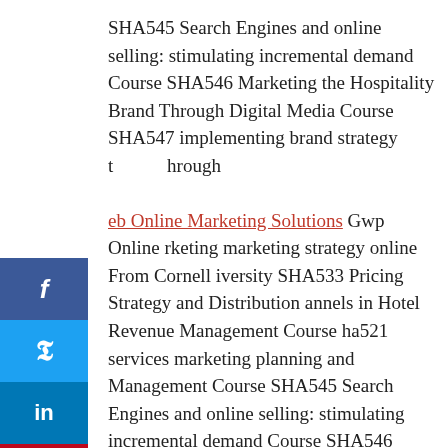SHA545 Search Engines and online selling: stimulating incremental demand Course SHA546 Marketing the Hospitality Brand Through Digital Media Course SHA547 implementing brand strategy Through eb Online Marketing Solutions Gwp Online rketing marketing strategy online From Cornell iversity SHA533 Pricing Strategy and Distribution annels in Hotel Revenue Management Course ha521 services marketing planning and Management Course SHA545 Search Engines and online selling: stimulating incremental demand Course SHA546 Marketing the Hospitality Brand Through Digital Media Course SHA547 implementing brand strategy Through Digital Media
[Figure (other): Social media sharing sidebar with Facebook (blue), Twitter (light blue), LinkedIn (dark blue), Pinterest (red) buttons and a collapse arrow tab]